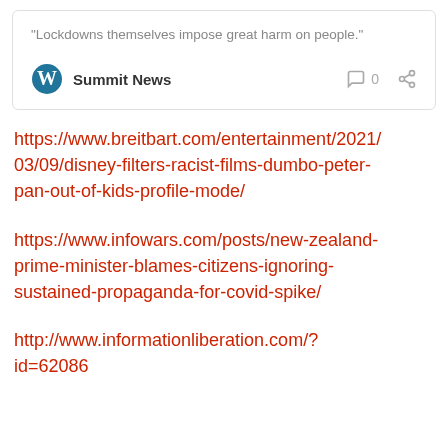“Lockdowns themselves impose great harm on people.”
Summit News
https://www.breitbart.com/entertainment/2021/03/09/disney-filters-racist-films-dumbo-peter-pan-out-of-kids-profile-mode/
https://www.infowars.com/posts/new-zealand-prime-minister-blames-citizens-ignoring-sustained-propaganda-for-covid-spike/
http://www.informationliberation.com/?id=62086